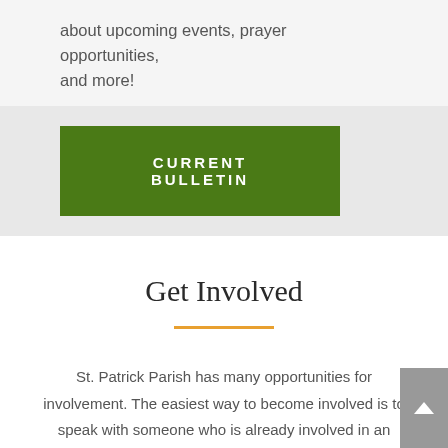about upcoming events, prayer opportunities, and more!
CURRENT BULLETIN
Get Involved
St. Patrick Parish has many opportunities for involvement.  The easiest way to become involved is to speak with someone who is already involved in an activity that interests you.